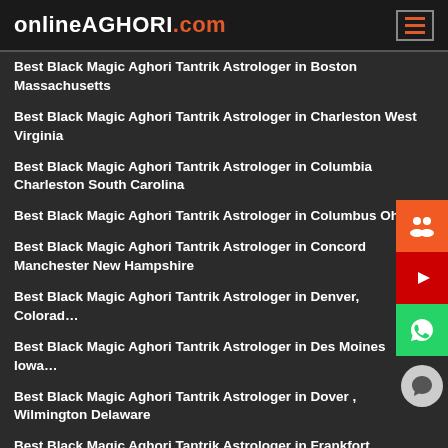onlineAGHORI.com
Best Black Magic Aghori Tantrik Astrologer in Boston Massachusetts
Best Black Magic Aghori Tantrik Astrologer in Charleston West Virginia
Best Black Magic Aghori Tantrik Astrologer in Columbia Charleston South Carolina
Best Black Magic Aghori Tantrik Astrologer in Columbus Ohio
Best Black Magic Aghori Tantrik Astrologer in Concord Manchester New Hampshire
Best Black Magic Aghori Tantrik Astrologer in Denver, Colorado
Best Black Magic Aghori Tantrik Astrologer in Des Moines Iowa
Best Black Magic Aghori Tantrik Astrologer in Dover , Wilmington Delaware
Best Black Magic Aghori Tantrik Astrologer in Frankfort Louisville Kentucky
Best Black Magic Aghori Tantrik Astrologer in Harrisburg Philadelphia Pennsylvania